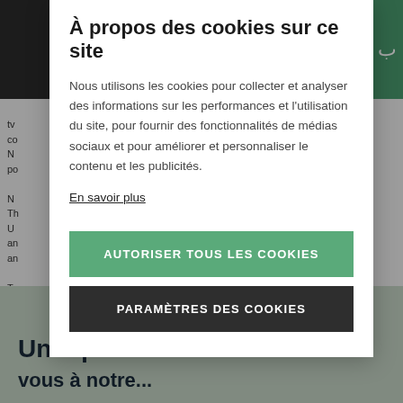À propos des cookies sur ce site
Nous utilisons les cookies pour collecter et analyser des informations sur les performances et l'utilisation du site, pour fournir des fonctionnalités de médias sociaux et pour améliorer et personnaliser le contenu et les publicités.
En savoir plus
AUTORISER TOUS LES COOKIES
PARAMÈTRES DES COOKIES
Une question ? Rendez-